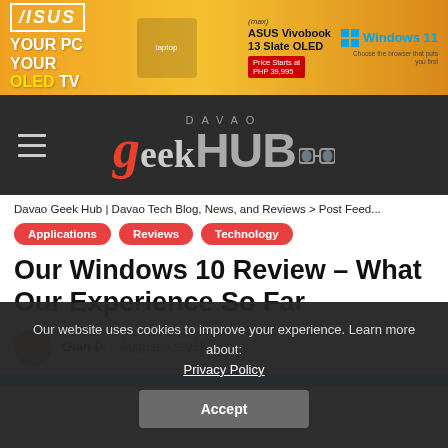[Figure (photo): ASUS advertisement banner: YOUR PC YOUR OLED TV — ASUS Vivobook 13 Slate OLED, Price Starts at PHP 39,995, Windows 11]
Davao geekHUB — site header with hamburger menu and logo
Davao Geek Hub | Davao Tech Blog, News, and Reviews > Post Feed...
Applications
Reviews
Technology
Our Windows 10 Review – What Our Experience So Far
Gian D  |  August 4, 2015
Our website uses cookies to improve your experience. Learn more about: Privacy Policy
Accept